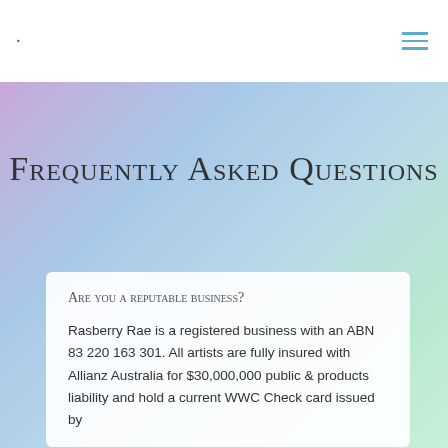·
Frequently Asked Questions
Are you a reputable business?
Rasberry Rae is a registered business with an ABN 83 220 163 301. All artists are fully insured with Allianz Australia for $30,000,000 public & products liability and hold a current WWC Check card issued by